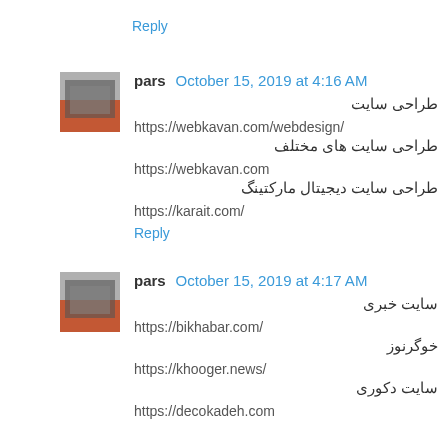Reply
pars  October 15, 2019 at 4:16 AM
طراحی سایت
https://webkavan.com/webdesign/
طراحی سایت های مختلف
https://webkavan.com
طراحی سایت دیجیتال مارکتینگ
https://karait.com/
Reply
pars  October 15, 2019 at 4:17 AM
سایت خبری
https://bikhabar.com/
خوگرنوز
https://khooger.news/
سایت دکوری
https://decokadeh.com